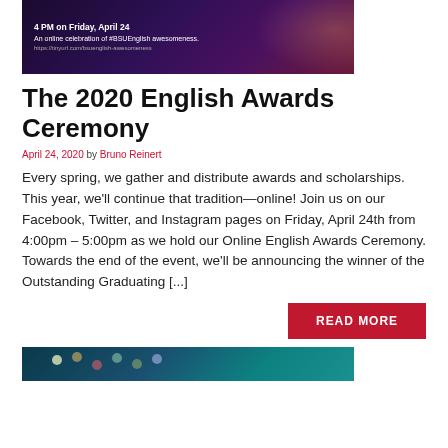[Figure (photo): Dark purple/maroon event banner with text: '4 PM on Friday, April 24', 'An online celebration of #BSUEnglish awesomeness.', 'https://tinyurl.com/bsuenglish-awesomeness']
The 2020 English Awards Ceremony
April 24, 2020 by Bruno Reinert
Every spring, we gather and distribute awards and scholarships. This year, we'll continue that tradition—online! Join us on our Facebook, Twitter, and Instagram pages on Friday, April 24th from 4:00pm – 5:00pm as we hold our Online English Awards Ceremony. Towards the end of the event, we'll be announcing the winner of the Outstanding Graduating [...]
READ MORE
[Figure (photo): Teal/dark blue celebration background with colorful confetti-like dots at the bottom of the page]